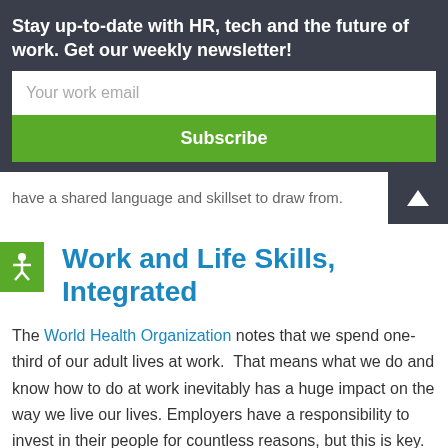Stay up-to-date with HR, tech and the future of work. Get our weekly newsletter!
Your work email
Subscribe
have a shared language and skillset to draw from.
Work and Life Skills, Integrated
The World Health Organization notes that we spend one-third of our adult lives at work.  That means what we do and know how to do at work inevitably has a huge impact on the way we live our lives. Employers have a responsibility to invest in their people for countless reasons, but this is key. Essential skills don't stop at the office. We want and need to develop